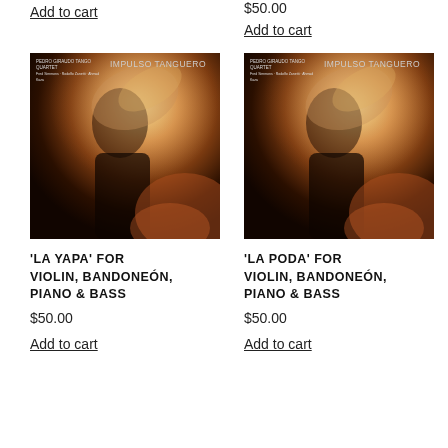Add to cart
$50.00
Add to cart
[Figure (photo): Album cover for Pedro Giraudo Tango Quartet 'Impulso Tanguero' showing a blurred figure with warm tones]
[Figure (photo): Album cover for Pedro Giraudo Tango Quartet 'Impulso Tanguero' showing a blurred figure with warm tones]
'LA YAPA' FOR VIOLIN, BANDONEÓN, PIANO & BASS
'LA PODA' FOR VIOLIN, BANDONEÓN, PIANO & BASS
$50.00
$50.00
Add to cart
Add to cart